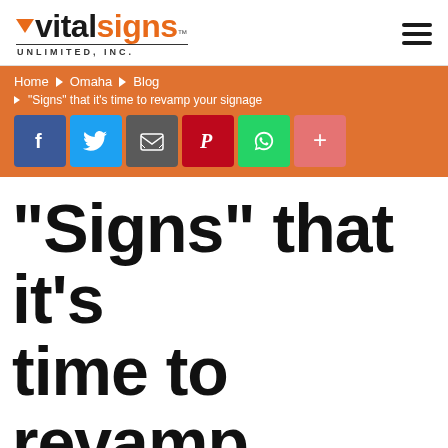[Figure (logo): Vital Signs Unlimited, Inc. logo with orange triangle V, black 'vital' text, orange 'signs' text, and 'UNLIMITED, INC.' tagline below]
Home ▶ Omaha ▶ Blog ▶ “Signs” that it’s time to revamp your signage
[Figure (infographic): Social sharing buttons row: Facebook (blue), Twitter (light blue), Email (gray), Pinterest (red), WhatsApp (green), Google+ (salmon/red)]
“Signs” that it’s time to revamp your signage